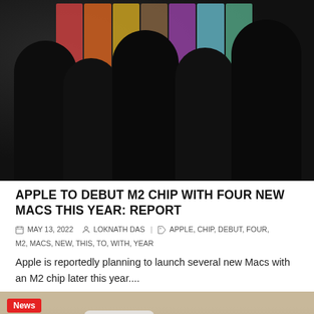[Figure (photo): Dark silhouetted crowd of people standing in front of a colorful illuminated display background with stripes of red, orange, purple and teal colors. A light-shirted figure is visible on the right side.]
APPLE TO DEBUT M2 CHIP WITH FOUR NEW MACS THIS YEAR: REPORT
MAY 13, 2022   LOKNATH DAS   | APPLE, CHIP, DEBUT, FOUR, M2, MACS, NEW, THIS, TO, WITH, YEAR
Apple is reportedly planning to launch several new Macs with an M2 chip later this year....
[Figure (photo): Partial view of a hand holding or placing a smartphone on a light wooden table surface, with a News badge label in the top left corner.]